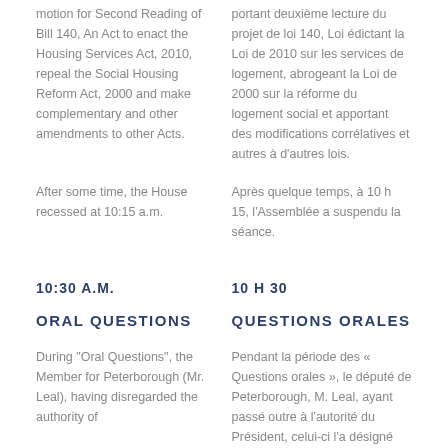motion for Second Reading of Bill 140, An Act to enact the Housing Services Act, 2010, repeal the Social Housing Reform Act, 2000 and make complementary and other amendments to other Acts.
portant deuxième lecture du projet de loi 140, Loi édictant la Loi de 2010 sur les services de logement, abrogeant la Loi de 2000 sur la réforme du logement social et apportant des modifications corrélatives et autres à d'autres lois.
After some time, the House recessed at 10:15 a.m.
Après quelque temps, à 10 h 15, l'Assemblée a suspendu la séance.
10:30 A.M.
10 H 30
ORAL QUESTIONS
QUESTIONS ORALES
During "Oral Questions", the Member for Peterborough (Mr. Leal), having disregarded the authority of
Pendant la période des « Questions orales », le député de Peterborough, M. Leal, ayant passé outre à l'autorité du Président, celui-ci l'a désigné par